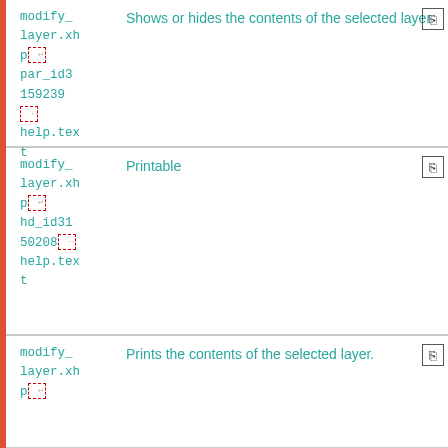| File | Description | Action |
| --- | --- | --- |
| modify_layer.xhp
p↵
par_id3 159239
↔
help.text | Shows or hides the contents of the selected layer. |  |
| modify_layer.xhp
p↵
hd_id31 50208↔
help.text | Printable |  |
| modify_layer.xhp
p↵ | Prints the contents of the selected layer. |  |